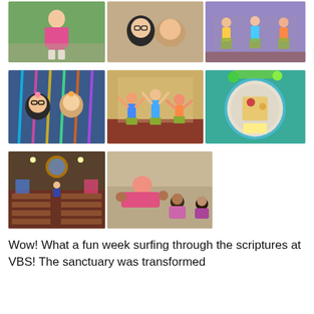[Figure (photo): Three-photo collage: child in colorful outfit outside; two women taking a selfie in church; children in hula skirts and leis performing in church sanctuary]
[Figure (photo): Three-photo collage: two women smiling in front of colorful streamers; children with arms raised performing on stage in church; a plate of food with crackers and fruit]
[Figure (photo): Two-photo collage: interior of decorated church sanctuary; children lying on carpet playing a game]
Wow! What a fun week surfing through the scriptures at VBS! The sanctuary was transformed